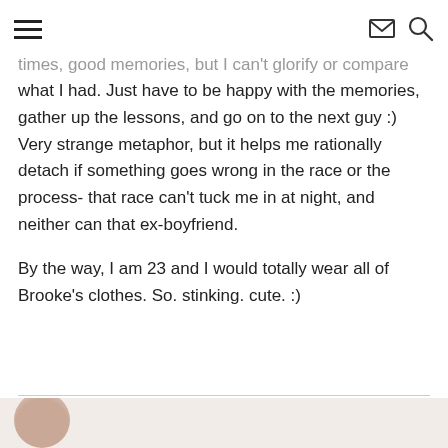≡  ✉ 🔍
times, good memories, but I can't glorify or compare what I had. Just have to be happy with the memories, gather up the lessons, and go on to the next guy :) Very strange metaphor, but it helps me rationally detach if something goes wrong in the race or the process- that race can't tuck me in at night, and neither can that ex-boyfriend.

By the way, I am 23 and I would totally wear all of Brooke's clothes. So. stinking. cute. :)
[Figure (photo): Partial view of a person's head/shoulder at the bottom of the page]